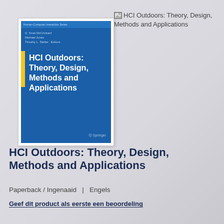[Figure (illustration): Book cover of 'HCI Outdoors: Theory, Design, Methods and Applications' by D. Scott McCrickard, Michael Jones, Timothy L. Stelter et al., published by Springer. Blue cover with bold white title text and a yellow accent bar.]
HCI Outdoors: Theory, Design, Methods and Applications
HCI Outdoors: Theory, Design, Methods and Applications
Paperback / Ingenaaid  |  Engels
Geef dit product als eerste een beoordeling